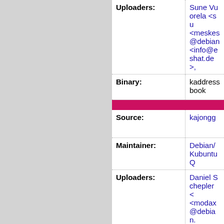| Field | Value |
| --- | --- |
| Uploaders: | Sune Vuorela <su... <meskes@debian... <info@eshat.de>, |
| Binary: | kaddressbook |
| [section divider] |  |
| Source: | kajongg |
| Maintainer: | Debian/Kubuntu Q... |
| Uploaders: | Daniel Schepler <... <modax@debian.... Maximiliano Curia... |
| Binary: | kajongg:all |
| [section divider] |  |
| Source: | kalarm |
| Maintainer: | Debian/Kubuntu Q... |
| Uploaders: | Sune Vuorela <su... <meskes@debian... <info@eshat.de>,... |